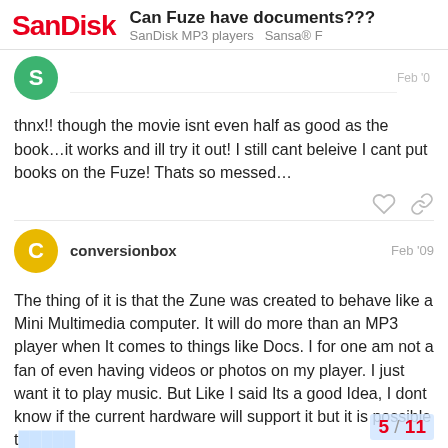SanDisk | Can Fuze have documents??? | SanDisk MP3 players  Sansa® F
[Figure (illustration): Green circular avatar with letter S, partially visible post date]
thnx!! though the movie isnt even half as good as the book...it works and ill try it out! I still cant beleive I cant put books on the Fuze! Thats so messed...
conversionbox  Feb '09
The thing of it is that the Zune was created to behave like a Mini Multimedia computer. It will do more than an MP3 player when It comes to things like Docs. I for one am not a fan of even having videos or photos on my player. I just want it to play music. But Like I said Its a good Idea, I dont know if the current hardware will support it but it is possible t... make it to a Future Firmware.
5 / 11